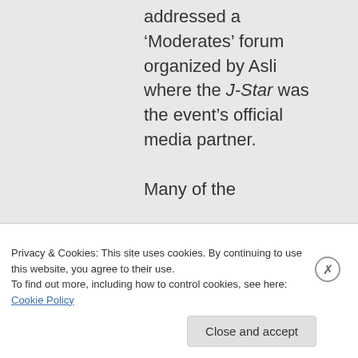addressed a 'Moderates' forum organized by Asli where the J-Star was the event's official media partner.

Many of the
Privacy & Cookies: This site uses cookies. By continuing to use this website, you agree to their use.
To find out more, including how to control cookies, see here: Cookie Policy
Close and accept